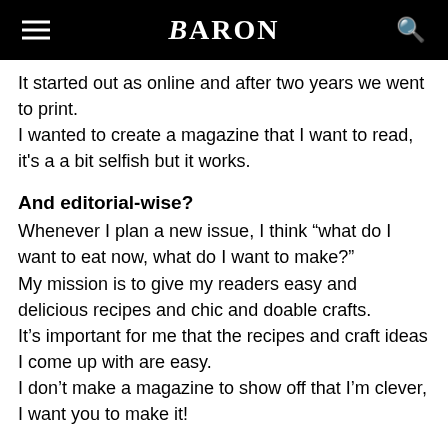BARON
It started out as online and after two years we went to print.
I wanted to create a magazine that I want to read, it's a a bit selfish but it works.
And editorial-wise?
Whenever I plan a new issue, I think “what do I want to eat now, what do I want to make?”
My mission is to give my readers easy and delicious recipes and chic and doable crafts.
It’s important for me that the recipes and craft ideas I come up with are easy.
I don’t make a magazine to show off that I’m clever, I want you to make it!